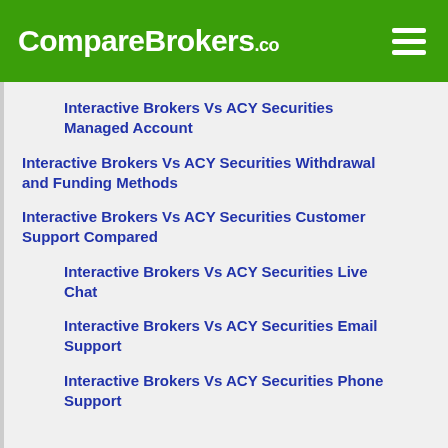CompareBrokers.co
Interactive Brokers Vs ACY Securities Managed Account
Interactive Brokers Vs ACY Securities Withdrawal and Funding Methods
Interactive Brokers Vs ACY Securities Customer Support Compared
Interactive Brokers Vs ACY Securities Live Chat
Interactive Brokers Vs ACY Securities Email Support
Interactive Brokers Vs ACY Securities Phone Support